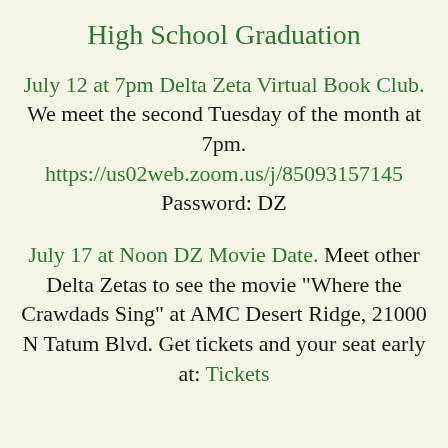High School Graduation
July 12 at 7pm Delta Zeta Virtual Book Club. We meet the second Tuesday of the month at 7pm.
https://us02web.zoom.us/j/85093157145
Password: DZ
July 17 at Noon DZ Movie Date. Meet other Delta Zetas to see the movie "Where the Crawdads Sing" at AMC Desert Ridge, 21000 N Tatum Blvd. Get tickets and your seat early at: Tickets